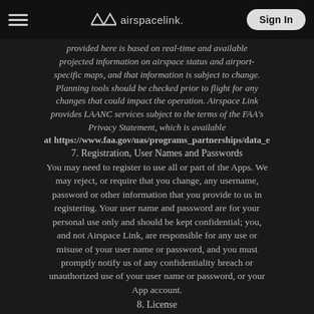airspacelink. Sign In
provided here is based on real-time and available projected information on airspace status and airport-specific maps, and that information is subject to change. Planning tools should be checked prior to flight for any changes that could impact the operation. Airspace Link provides LAANC services subject to the terms of the FAA's Privacy Statement, which is available at https://www.faa.gov/uas/programs_partnerships/data_e
7. Registration, User Names and Passwords
You may need to register to use all or part of the Apps. We may reject, or require that you change, any username, password or other information that you provide to us in registering. Your user name and password are for your personal use only and should be kept confidential; you, and not Airspace Link, are responsible for any use or misuse of your user name or password, and you must promptly notify us of any confidentiality breach or unauthorized use of your user name or password, or your App account.
8. License
For purposes of clarity, you retain ownership of your Submissions. For each Submission, you hereby grant to us a worldwide, royalty-free, fully paid-up, non-exclusive, perpetual, irrevocable, transferable and fully sublicensable